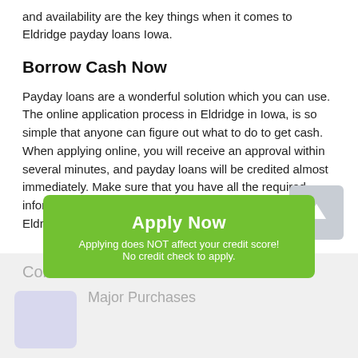and availability are the key things when it comes to Eldridge payday loans Iowa.
Borrow Cash Now
Payday loans are a wonderful solution which you can use. The online application process in Eldridge in Iowa, is so simple that anyone can figure out what to do to get cash. When applying online, you will receive an approval within several minutes, and payday loans will be credited almost immediately. Make sure that you have all the required information at hand and request your payday loans in Eldridge IA!
Common Uses For a Loan
[Figure (other): Green Apply Now button overlay with text: Apply Now, Applying does NOT affect your credit score!, No credit check to apply.]
Major Purchases